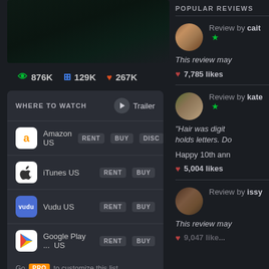[Figure (screenshot): Dark movie poster image, mostly black with green tint]
👁 876K  ⊞ 129K  ♥ 267K
WHERE TO WATCH
▶ Trailer
Amazon US  RENT  BUY  DISC
iTunes US  RENT  BUY
Vudu US  RENT  BUY
Google Play ...  US  RENT  BUY
Go PRO to customize this list
All services...
▶JustWatch
REMOVE ADS ×
POPULAR REVIEWS
Review by cait ★
This review may
♥ 7,785 likes
Review by kate ★
"Hair was digit... holds letters. Do...
Happy 10th ann
♥ 5,004 likes
Review by issy
This review may
♥ 9,047 like...